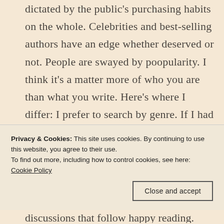dictated by the public's purchasing habits on the whole. Celebrities and best-selling authors have an edge whether deserved or not. People are swayed by poopularity. I think it's a matter more of who you are than what you write. Here's where I differ: I prefer to search by genre. If I had to wade through all those YA romances, I think I'd have a stroke. Even searching by genre, I tend toward the better-known authors or heftily reviewed books in order to avoid the poop. So, what if I want to read something new
Privacy & Cookies: This site uses cookies. By continuing to use this website, you agree to their use.
To find out more, including how to control cookies, see here: Cookie Policy
Close and accept
discussions that follow happy reading.